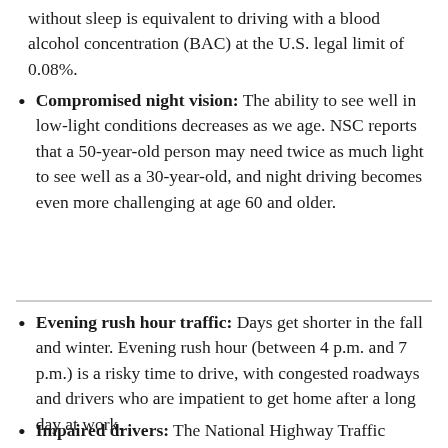without sleep is equivalent to driving with a blood alcohol concentration (BAC) at the U.S. legal limit of 0.08%.
Compromised night vision: The ability to see well in low-light conditions decreases as we age. NSC reports that a 50-year-old person may need twice as much light to see well as a 30-year-old, and night driving becomes even more challenging at age 60 and older.
Evening rush hour traffic: Days get shorter in the fall and winter. Evening rush hour (between 4 p.m. and 7 p.m.) is a risky time to drive, with congested roadways and drivers who are impatient to get home after a long day at work.
Impaired drivers: The National Highway Traffic Safety Administration (NHTSA) reports that one